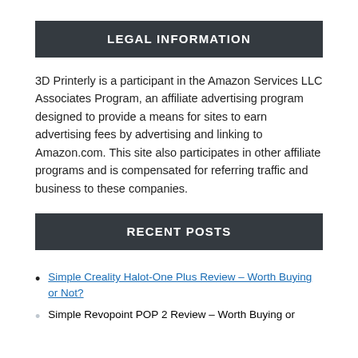LEGAL INFORMATION
3D Printerly is a participant in the Amazon Services LLC Associates Program, an affiliate advertising program designed to provide a means for sites to earn advertising fees by advertising and linking to Amazon.com. This site also participates in other affiliate programs and is compensated for referring traffic and business to these companies.
RECENT POSTS
Simple Creality Halot-One Plus Review – Worth Buying or Not?
Simple Revopoint POP 2 Review – Worth Buying or